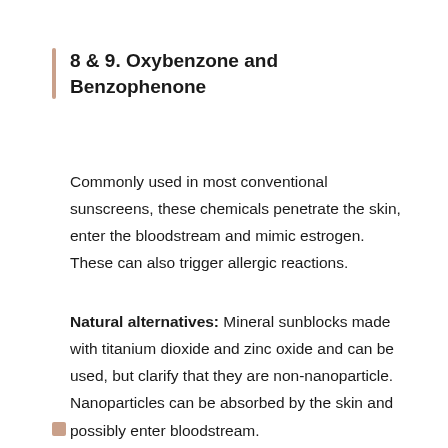8 & 9. Oxybenzone and Benzophenone
Commonly used in most conventional sunscreens, these chemicals penetrate the skin, enter the bloodstream and mimic estrogen. These can also trigger allergic reactions.
Natural alternatives: Mineral sunblocks made with titanium dioxide and zinc oxide and can be used, but clarify that they are non-nanoparticle. Nanoparticles can be absorbed by the skin and possibly enter bloodstream.